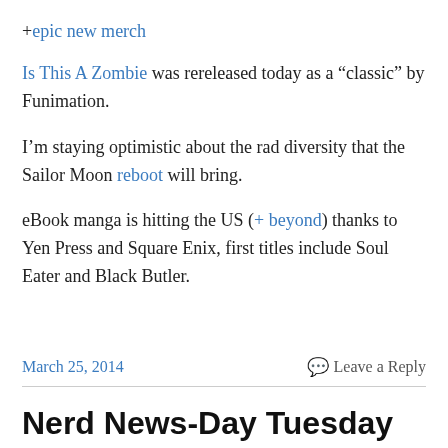+epic new merch
Is This A Zombie was rereleased today as a “classic” by Funimation.
I’m staying optimistic about the rad diversity that the Sailor Moon reboot will bring.
eBook manga is hitting the US (+ beyond) thanks to Yen Press and Square Enix, first titles include Soul Eater and Black Butler.
March 25, 2014   Leave a Reply
Nerd News-Day Tuesday